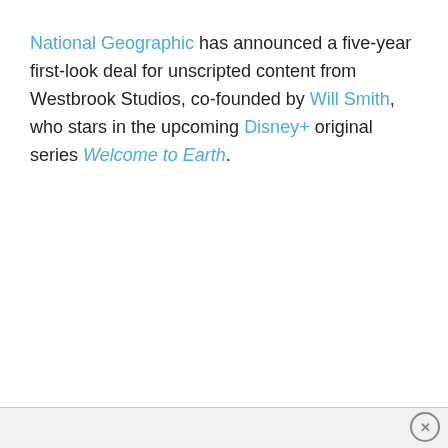National Geographic has announced a five-year first-look deal for unscripted content from Westbrook Studios, co-founded by Will Smith, who stars in the upcoming Disney+ original series Welcome to Earth.